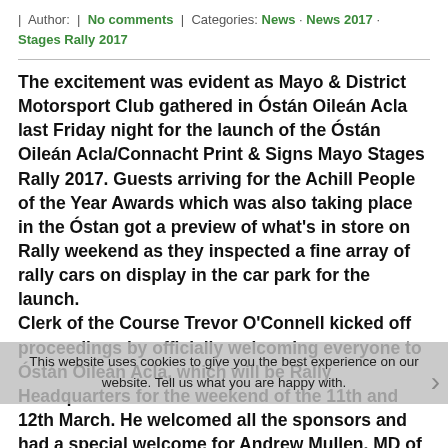| Author: | No comments | Categories: News · News 2017 · Stages Rally 2017
The excitement was evident as Mayo & District Motorsport Club gathered in Óstán Oileán Acla last Friday night for the launch of the Óstán Oileán Acla/Connacht Print & Signs Mayo Stages Rally 2017. Guests arriving for the Achill People of the Year Awards which was also taking place in the Óstan got a preview of what's in store on Rally weekend as they inspected a fine array of rally cars on display in the car park for the launch.
Clerk of the Course Trevor O'Connell kicked off proceedings by officially welcoming everyone to Óstán Oileán Acla, which will be Rally Headquarters for the weekend of the 11th and 12th March. He welcomed all the sponsors and had a special welcome for Andrew Mullen, MD of 'Sligo Pallets' who travelled from Sligo and Brendan Flynn from the